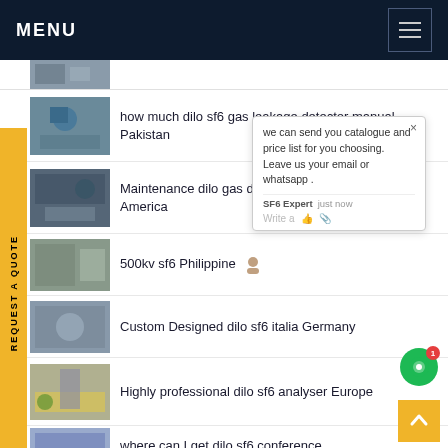MENU
how much dilo sf6 gas leakage detector manual Pakistan
Maintenance dilo gas de... h America
500kv sf6 Philippine
Custom Designed dilo sf6 italia Germany
Highly professional dilo sf6 analyser Europe
where can I get dilo sf6 conference